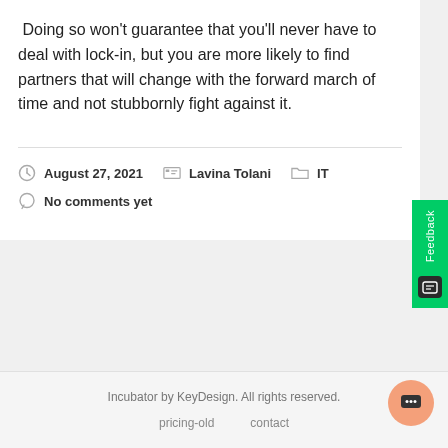Doing so won't guarantee that you'll never have to deal with lock-in, but you are more likely to find partners that will change with the forward march of time and not stubbornly fight against it.
August 27, 2021   Lavina Tolani   IT
No comments yet
Incubator by KeyDesign. All rights reserved.
pricing-old   contact